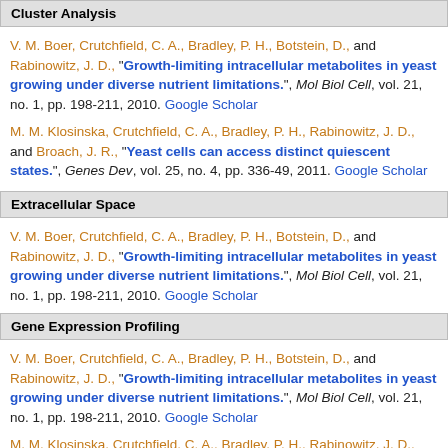Cluster Analysis
V. M. Boer, Crutchfield, C. A., Bradley, P. H., Botstein, D., and Rabinowitz, J. D., "Growth-limiting intracellular metabolites in yeast growing under diverse nutrient limitations.", Mol Biol Cell, vol. 21, no. 1, pp. 198-211, 2010. Google Scholar
M. M. Klosinska, Crutchfield, C. A., Bradley, P. H., Rabinowitz, J. D., and Broach, J. R., "Yeast cells can access distinct quiescent states.", Genes Dev, vol. 25, no. 4, pp. 336-49, 2011. Google Scholar
Extracellular Space
V. M. Boer, Crutchfield, C. A., Bradley, P. H., Botstein, D., and Rabinowitz, J. D., "Growth-limiting intracellular metabolites in yeast growing under diverse nutrient limitations.", Mol Biol Cell, vol. 21, no. 1, pp. 198-211, 2010. Google Scholar
Gene Expression Profiling
V. M. Boer, Crutchfield, C. A., Bradley, P. H., Botstein, D., and Rabinowitz, J. D., "Growth-limiting intracellular metabolites in yeast growing under diverse nutrient limitations.", Mol Biol Cell, vol. 21, no. 1, pp. 198-211, 2010. Google Scholar
M. M. Klosinska, Crutchfield, C. A., Bradley, P. H., Rabinowitz, J. D., and Broach, J. R., "Yeast cells can access distinct quiescent states."